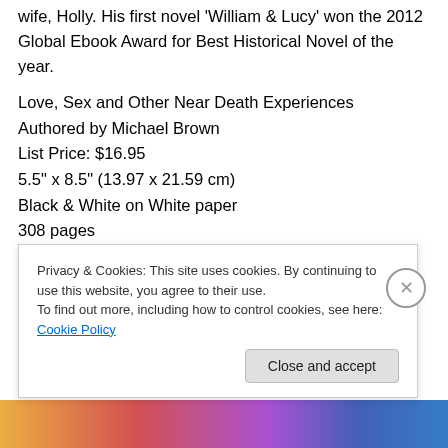wife, Holly. His first novel 'William & Lucy' won the 2012 Global Ebook Award for Best Historical Novel of the year.
Love, Sex and Other Near Death Experiences
Authored by Michael Brown
List Price: $16.95
5.5" x 8.5" (13.97 x 21.59 cm)
Black & White on White paper
308 pages
Sunbury Press, Inc.
ISBN-13: 978-1620062593
ISBN-10: 1620062593
Privacy & Cookies: This site uses cookies. By continuing to use this website, you agree to their use.
To find out more, including how to control cookies, see here: Cookie Policy
Close and accept